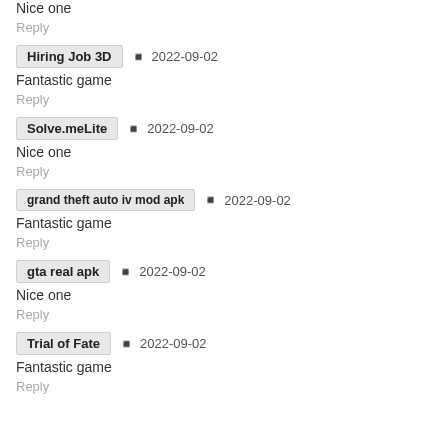Nice one
Reply
Hiring Job 3D  · 2022-09-02
Fantastic game
Reply
Solve.meLite  · 2022-09-02
Nice one
Reply
grand theft auto iv mod apk  · 2022-09-02
Fantastic game
Reply
gta real apk  · 2022-09-02
Nice one
Reply
Trial of Fate  · 2022-09-02
Fantastic game
Reply